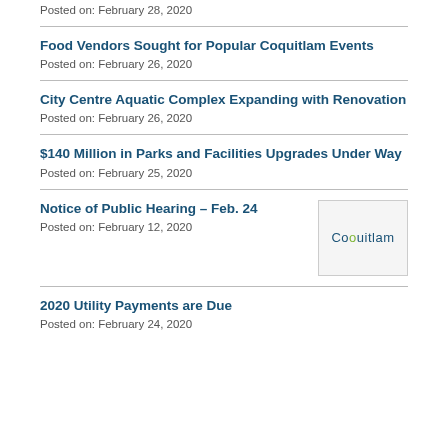Posted on: February 28, 2020
Food Vendors Sought for Popular Coquitlam Events
Posted on: February 26, 2020
City Centre Aquatic Complex Expanding with Renovation
Posted on: February 26, 2020
$140 Million in Parks and Facilities Upgrades Under Way
Posted on: February 25, 2020
Notice of Public Hearing - Feb. 24
Posted on: February 12, 2020
[Figure (logo): Coquitlam city logo with green accent on letter o]
2020 Utility Payments are Due
Posted on: February 24, 2020